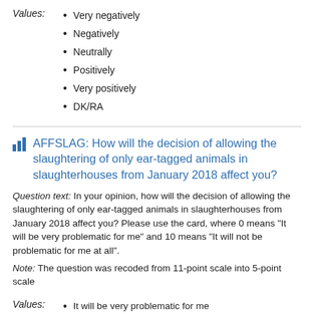Very negatively
Negatively
Neutrally
Positively
Very positively
DK/RA
AFFSLAG: How will the decision of allowing the slaughtering of only ear-tagged animals in slaughterhouses from January 2018 affect you?
Question text: In your opinion, how will the decision of allowing the slaughtering of only ear-tagged animals in slaughterhouses from January 2018 affect you? Please use the card, where 0 means “It will be very problematic for me” and 10 means “It will not be problematic for me at all”.
Note: The question was recoded from 11-point scale into 5-point scale
It will be very problematic for me
2
3